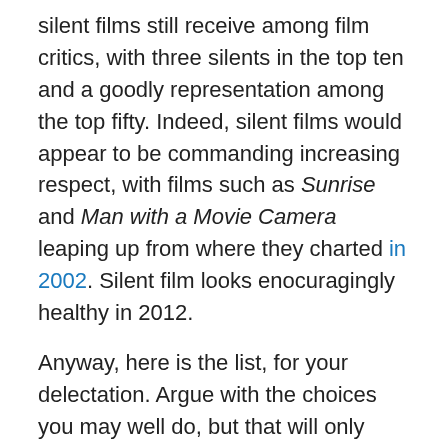silent films still receive among film critics, with three silents in the top ten and a goodly representation among the top fifty. Indeed, silent films would appear to be commanding increasing respect, with films such as Sunrise and Man with a Movie Camera leaping up from where they charted in 2002. Silent film looks enocuragingly healthy in 2012.
Anyway, here is the list, for your delectation. Argue with the choices you may well do, but that will only demonstrate that you feel that there is such a thing as a best film ever, or a top ten films ever. Do you really believe that?
1. Vertigo
Alfred Hitchcock, 1958 (191 votes)
2. Citizen Kane
Orson Welles, 1941 (157 votes)